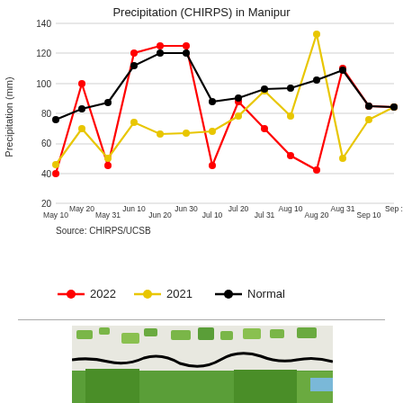[Figure (line-chart): Precipitation (CHIRPS) in Manipur]
Source: CHIRPS/UCSB
[Figure (map): Vegetation/land use map of Manipur region shown in green and white tones with black boundary outline.]